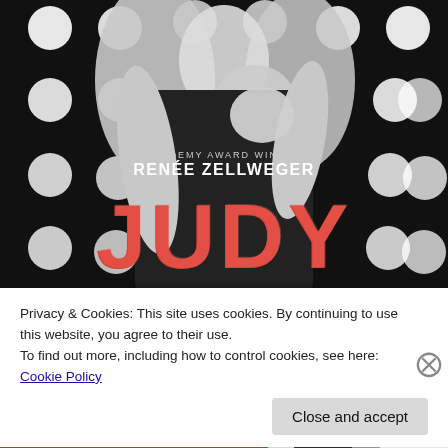[Figure (photo): Movie poster for 'JUDY' featuring 'Academy Award Winner Renée Zellweger' text. Black and white image of a woman in a black sparkly dress with hands to her chest, surrounded by circular stage lights. Large red glittery 'JUDY' text at the bottom of the poster.]
Privacy & Cookies: This site uses cookies. By continuing to use this website, you agree to their use.
To find out more, including how to control cookies, see here: Cookie Policy